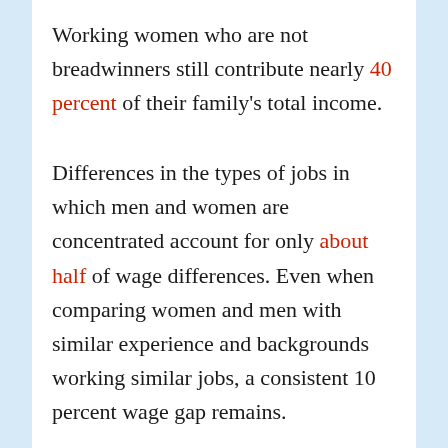Working women who are not breadwinners still contribute nearly 40 percent of their family's total income.
Differences in the types of jobs in which men and women are concentrated account for only about half of wage differences. Even when comparing women and men with similar experience and backgrounds working similar jobs, a consistent 10 percent wage gap remains.
In fact, according to a 2018 report from Georgetown University, women earn more